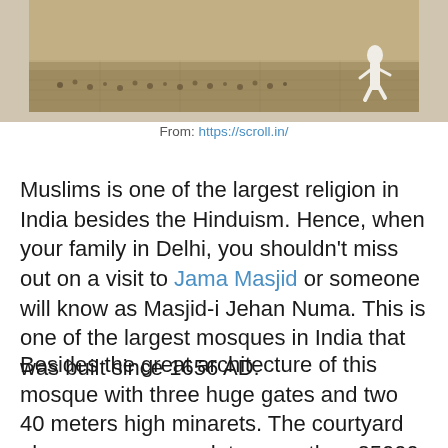[Figure (photo): Outdoor scene with people and pigeons on a stone ground, one person in white clothing running, crowded scene likely at a mosque courtyard]
From: https://scroll.in/
Muslims is one of the largest religion in India besides the Hinduism. Hence, when your family in Delhi, you shouldn't miss out on a visit to Jama Masjid or someone will know as Masjid-i Jehan Numa. This is one of the largest mosques in India that was built since 1656 AD.
Besides the great architecture of this mosque with three huge gates and two 40 meters high minarets. The courtyard also can accommodate more than 25000 people at the same time. If you are lucky